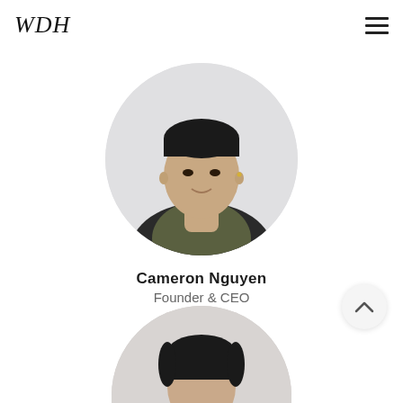WDH
[Figure (photo): Circular profile photo of Cameron Nguyen, a young Asian man with neck tattoos wearing a camo jacket and dark outer jacket, shown from shoulders up against a light gray background]
Cameron Nguyen
Founder & CEO
[Figure (photo): Partial circular profile photo of a second person (woman with dark hair), cropped at the bottom of the page]